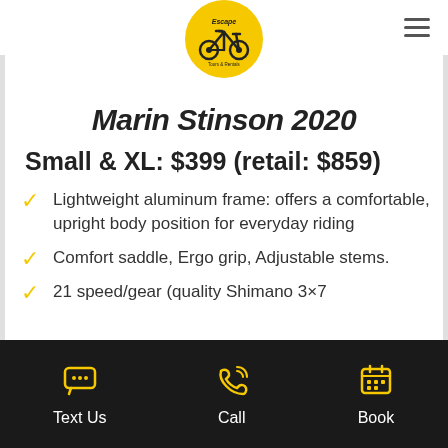[Figure (logo): Escape Tours & Rentals circular yellow logo with bicycle icon]
Marin Stinson 2020
Small & XL: $399 (retail: $859)
Lightweight aluminum frame: offers a comfortable, upright body position for everyday riding
Comfort saddle, Ergo grip, Adjustable stems.
21 speed/gear (quality Shimano 3×7
Text Us   Call   Book